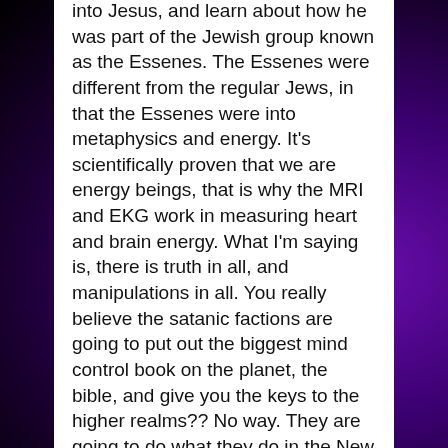into Jesus, and learn about how he was part of the Jewish group known as the Essenes. The Essenes were different from the regular Jews, in that the Essenes were into metaphysics and energy. It's scientifically proven that we are energy beings, that is why the MRI and EKG work in measuring heart and brain energy. What I'm saying is, there is truth in all, and manipulations in all. You really believe the satanic factions are going to put out the biggest mind control book on the planet, the bible, and give you the keys to the higher realms?? No way. They are going to do what they do in the New Age, and give you some truths and then fill it with things that never get you higher or give you the real answers. It's all the same.